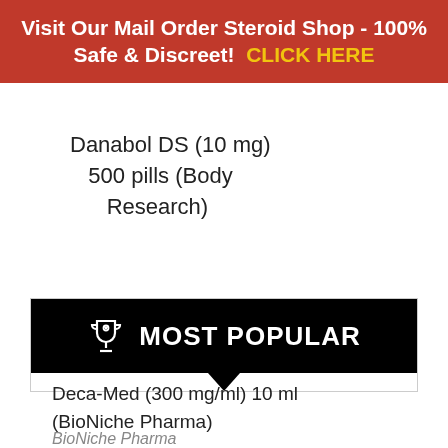Visit Our Mail Order Steroid Shop - 100% Safe & Discreet! CLICK HERE
Danabol DS (10 mg) 500 pills (Body Research)
[Figure (infographic): Black banner with trophy icon and text MOST POPULAR with downward pointing arrow]
Deca-Med (300 mg/ml) 10 ml (BioNiche Pharma)
BioNiche Pharma